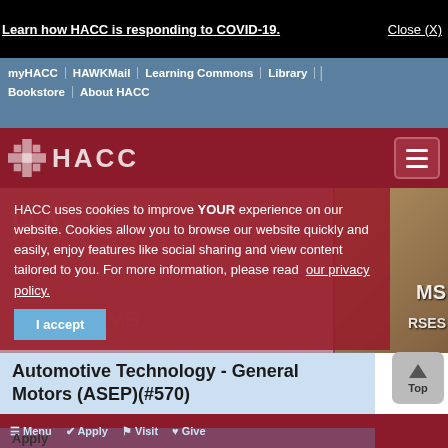Learn how HACC is responding to COVID-19.
Close (X)
myHACC | HAWKMail | Learning Commons | Library | Bookstore | About HACC
[Figure (logo): HACC logo with cross symbol and text HACC in white on dark red background, with hamburger menu button]
HACC uses cookies to improve YOUR experience on our website. Cookies allow you to browse our website quickly and easily, enjoy features like social sharing and view content tailored to you. For more information, please read our privacy policy.
I accept
Automotive Technology - General Motors (ASEP)(#570)
Menu  Apply  Visit  Give